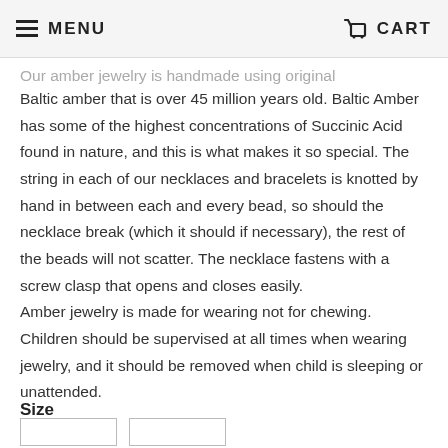MENU  CART
Our amber jewelry is handmade using original Baltic amber that is over 45 million years old. Baltic Amber has some of the highest concentrations of Succinic Acid found in nature, and this is what makes it so special. The string in each of our necklaces and bracelets is knotted by hand in between each and every bead, so should the necklace break (which it should if necessary), the rest of the beads will not scatter. The necklace fastens with a screw clasp that opens and closes easily. Amber jewelry is made for wearing not for chewing. Children should be supervised at all times when wearing jewelry, and it should be removed when child is sleeping or unattended.
Size